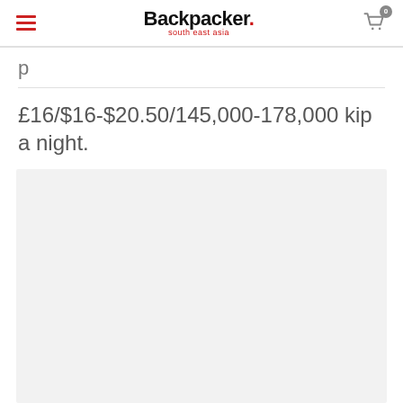Backpacker. south east asia
£16/$16-$20.50/145,000-178,000 kip a night.
[Figure (photo): Large light grey placeholder image area]